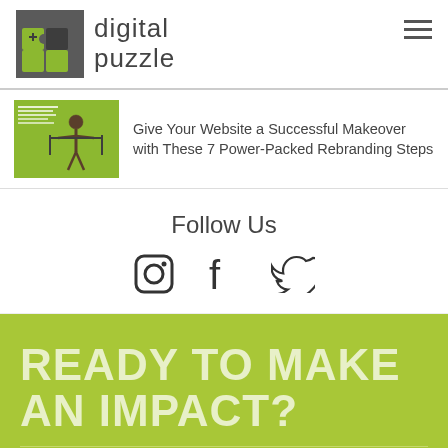[Figure (logo): Digital Puzzle logo with puzzle piece icon and 'digital puzzle' text, plus hamburger menu icon top right]
[Figure (illustration): Blog post thumbnail with green background and small figure illustration for rebranding article]
Give Your Website a Successful Makeover with These 7 Power-Packed Rebranding Steps
Follow Us
[Figure (other): Social media icons: Instagram, Facebook, Twitter]
READY TO MAKE AN IMPACT?
We solve all your puzzles